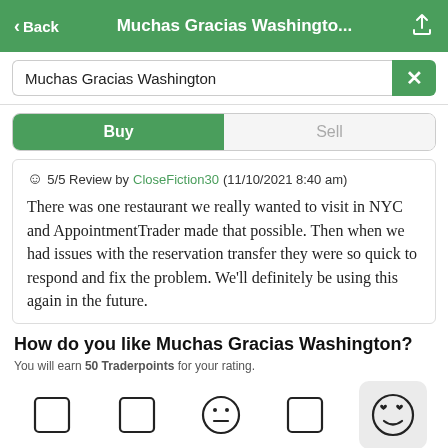< Back  Muchas Gracias Washingto...
Muchas Gracias Washington
Buy | Sell
☺ 5/5 Review by CloseFiction30 (11/10/2021 8:40 am)
There was one restaurant we really wanted to visit in NYC and AppointmentTrader made that possible. Then when we had issues with the reservation transfer they were so quick to respond and fix the problem. We'll definitely be using this again in the future.
How do you like Muchas Gracias Washington?
You will earn 50 Traderpoints for your rating.
[Figure (other): Five emoji rating icons in a row; the rightmost (smiley with heart eyes) is highlighted with a grey background. The others are outline rectangles and a neutral face emoji.]